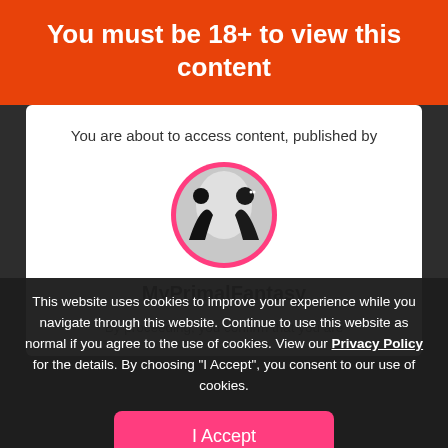You must be 18+ to view this content
You are about to access content, published by
[Figure (illustration): Circular profile avatar with pink border showing silhouettes of two figures against a light grey background]
MyPrimalFantasy
By proceeding, you confirm that you are at least 18 years of age.
This website uses cookies to improve your experience while you navigate through this website. Continue to use this website as normal if you agree to the use of cookies. View our Privacy Policy for the details. By choosing "I Accept", you consent to our use of cookies.
I Accept